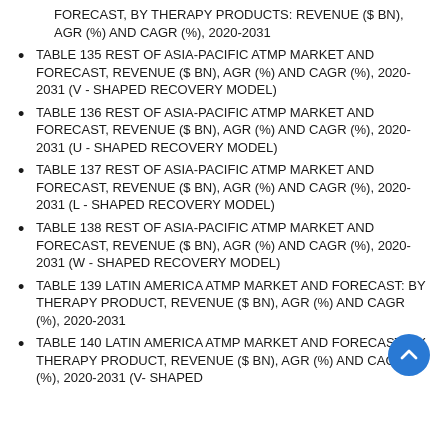FORECAST, BY THERAPY PRODUCTS: REVENUE ($ BN), AGR (%) AND CAGR (%), 2020-2031
TABLE 135 REST OF ASIA-PACIFIC ATMP MARKET AND FORECAST, REVENUE ($ BN), AGR (%) AND CAGR (%), 2020-2031 (V - SHAPED RECOVERY MODEL)
TABLE 136 REST OF ASIA-PACIFIC ATMP MARKET AND FORECAST, REVENUE ($ BN), AGR (%) AND CAGR (%), 2020-2031 (U - SHAPED RECOVERY MODEL)
TABLE 137 REST OF ASIA-PACIFIC ATMP MARKET AND FORECAST, REVENUE ($ BN), AGR (%) AND CAGR (%), 2020-2031 (L - SHAPED RECOVERY MODEL)
TABLE 138 REST OF ASIA-PACIFIC ATMP MARKET AND FORECAST, REVENUE ($ BN), AGR (%) AND CAGR (%), 2020-2031 (W - SHAPED RECOVERY MODEL)
TABLE 139 LATIN AMERICA ATMP MARKET AND FORECAST: BY THERAPY PRODUCT, REVENUE ($ BN), AGR (%) AND CAGR (%), 2020-2031
TABLE 140 LATIN AMERICA ATMP MARKET AND FORECAST: BY THERAPY PRODUCT, REVENUE ($ BN), AGR (%) AND CAGR (%), 2020-2031 (V- SHAPED